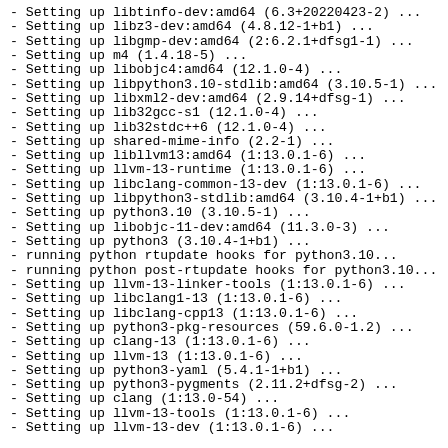- Setting up libtinfo-dev:amd64 (6.3+20220423-2) ...
- Setting up libz3-dev:amd64 (4.8.12-1+b1) ...
- Setting up libgmp-dev:amd64 (2:6.2.1+dfsg1-1) ...
- Setting up m4 (1.4.18-5) ...
- Setting up libobjc4:amd64 (12.1.0-4) ...
- Setting up libpython3.10-stdlib:amd64 (3.10.5-1) ...
- Setting up libxml2-dev:amd64 (2.9.14+dfsg-1) ...
- Setting up lib32gcc-s1 (12.1.0-4) ...
- Setting up lib32stdc++6 (12.1.0-4) ...
- Setting up shared-mime-info (2.2-1) ...
- Setting up libllvm13:amd64 (1:13.0.1-6) ...
- Setting up llvm-13-runtime (1:13.0.1-6) ...
- Setting up libclang-common-13-dev (1:13.0.1-6) ...
- Setting up libpython3-stdlib:amd64 (3.10.4-1+b1) ...
- Setting up python3.10 (3.10.5-1) ...
- Setting up libobjc-11-dev:amd64 (11.3.0-3) ...
- Setting up python3 (3.10.4-1+b1) ...
- running python rtupdate hooks for python3.10...
- running python post-rtupdate hooks for python3.10...
- Setting up llvm-13-linker-tools (1:13.0.1-6) ...
- Setting up libclang1-13 (1:13.0.1-6) ...
- Setting up libclang-cpp13 (1:13.0.1-6) ...
- Setting up python3-pkg-resources (59.6.0-1.2) ...
- Setting up clang-13 (1:13.0.1-6) ...
- Setting up llvm-13 (1:13.0.1-6) ...
- Setting up python3-yaml (5.4.1-1+b1) ...
- Setting up python3-pygments (2.11.2+dfsg-2) ...
- Setting up clang (1:13.0-54) ...
- Setting up llvm-13-tools (1:13.0.1-6) ...
- Setting up llvm-13-dev (1:13.0.1-6) ...